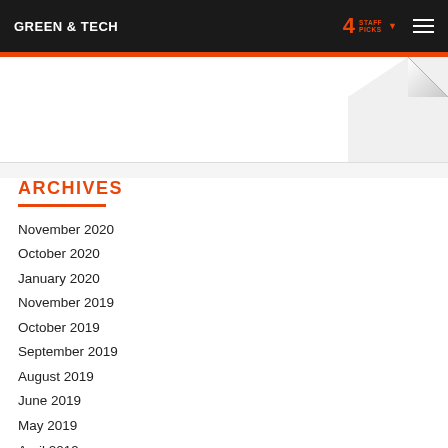GREEN & TECH — 4 STAFF PICKS — menu
ARCHIVES
November 2020
October 2020
January 2020
November 2019
October 2019
September 2019
August 2019
June 2019
May 2019
April 2019
March 2019
February 2019
January 2019
December 2018
November 2018
October 2018
September 2018
August 2018
July 2018